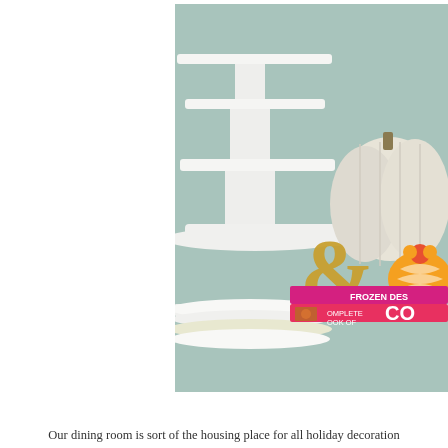[Figure (photo): A shelf display with a white tiered cake stand on the left, a white/cream pumpkin on the right, an orange and white striped decorative fabric pumpkin, a gold ampersand symbol, and colorful pink/magenta cookbooks including 'Frozen Desserts' and a pink cookbook with 'Complete Book of...' text. The background wall is a soft sage/mint green. Stacked white and yellow plates are visible in the lower left.]
Our dining room is sort of the housing place for all holiday decoration